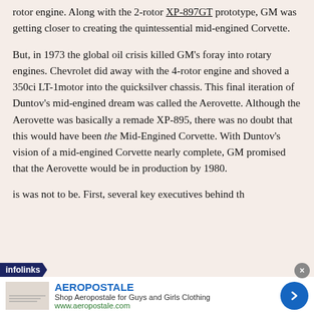rotor engine. Along with the 2-rotor XP-897GT prototype, GM was getting closer to creating the quintessential mid-engined Corvette.
But, in 1973 the global oil crisis killed GM's foray into rotary engines. Chevrolet did away with the 4-rotor engine and shoved a 350ci LT-1motor into the quicksilver chassis. This final iteration of Duntov's mid-engined dream was called the Aerovette. Although the Aerovette was basically a remade XP-895, there was no doubt that this would have been the Mid-Engined Corvette. With Duntov's vision of a mid-engined Corvette nearly complete, GM promised that the Aerovette would be in production by 1980.
is was not to be. First, several key executives behind th
[Figure (other): Infolinks advertisement overlay showing Aeropostale ad with brand name, tagline 'Shop Aeropostale for Guys and Girls Clothing', URL www.aeropostale.com, and a blue circular arrow button.]